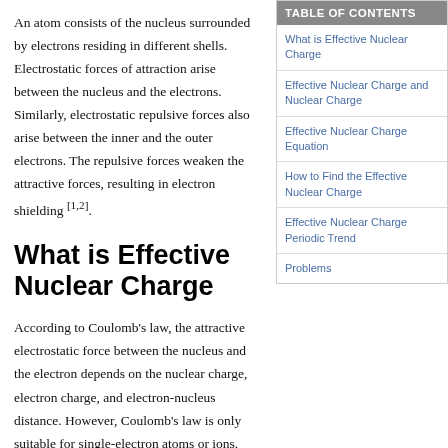An atom consists of the nucleus surrounded by electrons residing in different shells. Electrostatic forces of attraction arise between the nucleus and the electrons. Similarly, electrostatic repulsive forces also arise between the inner and the outer electrons. The repulsive forces weaken the attractive forces, resulting in electron shielding [1,2].
| TABLE OF CONTENTS |
| --- |
| What is Effective Nuclear Charge |
| Effective Nuclear Charge and Nuclear Charge |
| Effective Nuclear Charge Equation |
| How to Find the Effective Nuclear Charge |
| Effective Nuclear Charge Periodic Trend |
| Problems |
What is Effective Nuclear Charge
According to Coulomb's law, the attractive electrostatic force between the nucleus and the electron depends on the nuclear charge, electron charge, and electron-nucleus distance. However, Coulomb's law is only suitable for single-electron atoms or ions. For a multi-electron atom, the calculations are